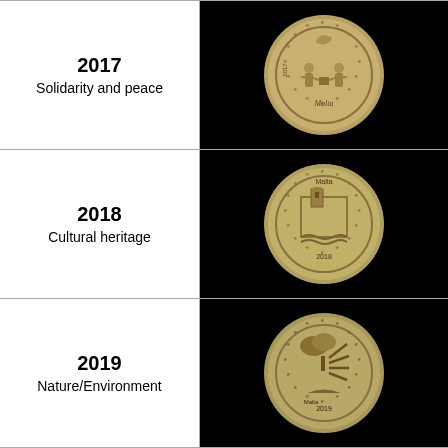[Figure (illustration): Malta 2017 €2 commemorative coin - Solidarity and peace. Shows two children holding hands with a dove above, surrounded by stars, text 'Malta 2017']
2017
Solidarity and peace
[Figure (illustration): Malta 2018 €2 commemorative coin - Cultural heritage. Shows architectural heritage motif with tower, waves, surrounded by stars, text 'Malta 2018']
2018
Cultural heritage
[Figure (illustration): Malta 2019 €2 commemorative coin - Nature/Environment. Shows nature motif with plant/tree and lines, surrounded by stars, text 'Malta 2019']
2019
Nature/Environment